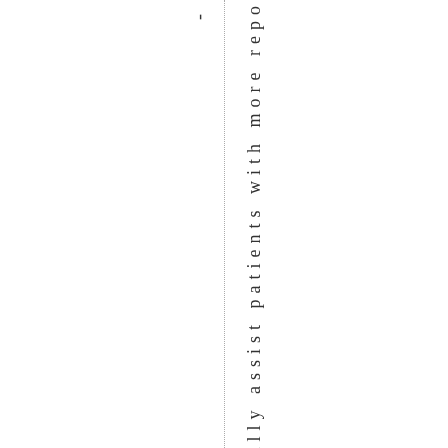-cally assist patients with more repo